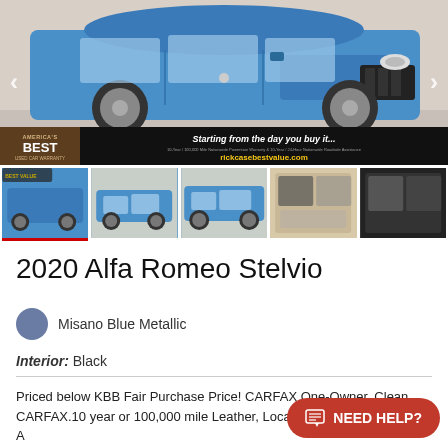[Figure (photo): Blue 2020 Alfa Romeo Stelvio SUV photographed from the front-side angle in a parking lot, with an America's Best Used Car Warranty banner overlay at the bottom reading 'Starting from the day you buy it... rickcasebestvalue.com']
[Figure (photo): Row of 5 thumbnail images of the same blue 2020 Alfa Romeo Stelvio from various angles including exterior front, side, and interior shots]
2020 Alfa Romeo Stelvio
Misano Blue Metallic
Interior: Black
Priced below KBB Fair Purchase Price! CARFAX One-Owner. Clean CARFAX.10 year or 100,000 mile Leather, Local Trade, Sirus XM radio, A e